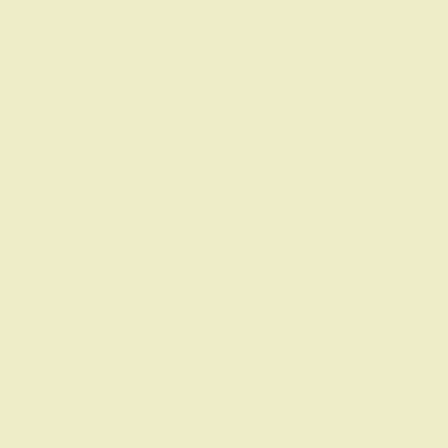Translation: Alien, le 8ème passager [French] (1979)
Translation: Alien: Das unheimliche Wesen aus einer fremden Welt [German] (1979)
Translation: Alien: El octavo pasajero [Spanish] (1979)
Translation: Alien [Italian] (1979)
Translation: (partial, cut off)